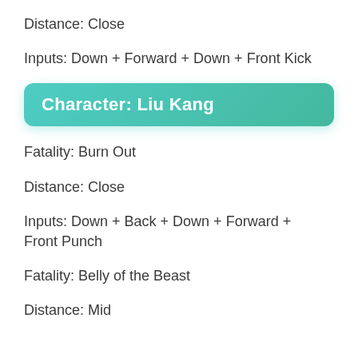Distance: Close
Inputs: Down + Forward + Down + Front Kick
Character: Liu Kang
Fatality: Burn Out
Distance: Close
Inputs: Down + Back + Down + Forward + Front Punch
Fatality: Belly of the Beast
Distance: Mid